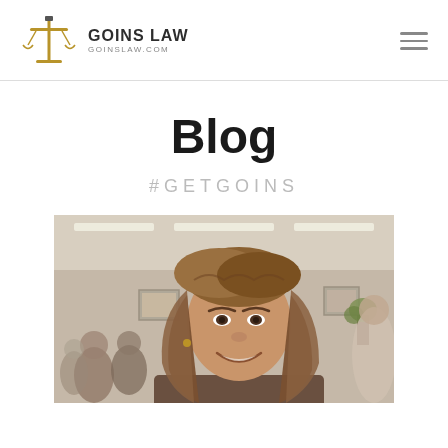GOINS LAW — goinslaw.com
Blog
#GETGOINS
[Figure (photo): A smiling woman with shoulder-length brown hair in a room with other people in the background, indoor lighting visible on the ceiling.]